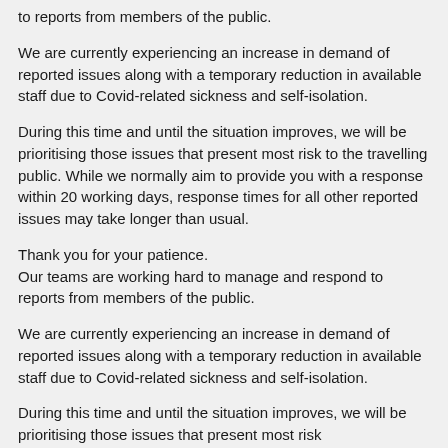to reports from members of the public.
We are currently experiencing an increase in demand of reported issues along with a temporary reduction in available staff due to Covid-related sickness and self-isolation.
During this time and until the situation improves, we will be prioritising those issues that present most risk to the travelling public. While we normally aim to provide you with a response within 20 working days, response times for all other reported issues may take longer than usual.
Thank you for your patience.
Our teams are working hard to manage and respond to reports from members of the public.
We are currently experiencing an increase in demand of reported issues along with a temporary reduction in available staff due to Covid-related sickness and self-isolation.
During this time and until the situation improves, we will be prioritising those issues that present most risk